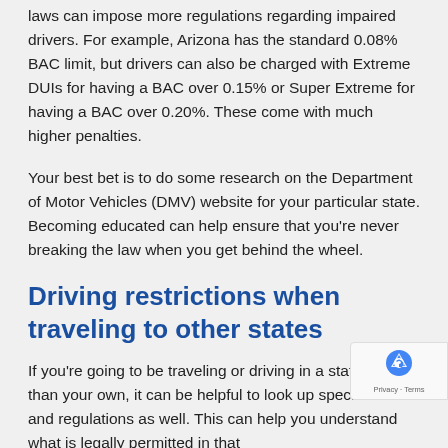laws can impose more regulations regarding impaired drivers. For example, Arizona has the standard 0.08% BAC limit, but drivers can also be charged with Extreme DUIs for having a BAC over 0.15% or Super Extreme for having a BAC over 0.20%. These come with much higher penalties.
Your best bet is to do some research on the Department of Motor Vehicles (DMV) website for your particular state. Becoming educated can help ensure that you're never breaking the law when you get behind the wheel.
Driving restrictions when traveling to other states
If you're going to be traveling or driving in a state other than your own, it can be helpful to look up specific laws and regulations as well. This can help you understand what is legally permitted in that